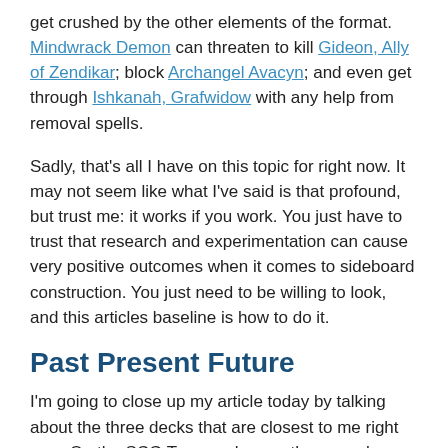get crushed by the other elements of the format. Mindwrack Demon can threaten to kill Gideon, Ally of Zendikar; block Archangel Avacyn; and even get through Ishkanah, Grafwidow with any help from removal spells.
Sadly, that's all I have on this topic for right now. It may not seem like what I've said is that profound, but trust me: it works if you work. You just have to trust that research and experimentation can cause very positive outcomes when it comes to sideboard construction. You just need to be willing to look, and this articles baseline is how to do it.
Past Present Future
I'm going to close up my article today by talking about the three decks that are closest to me right now. On the SCG Tour, we have a three-week period where there is one Open in each Constructed format, which makes this even more fun to write about. Let's talk about the three decks I am most passionate about right now!